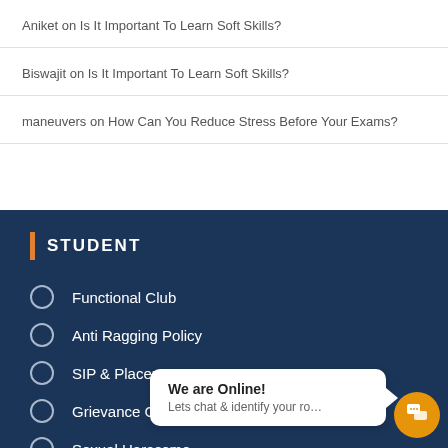Aniket on Is It Important To Learn Soft Skills?
Biswajit on Is It Important To Learn Soft Skills?
maneuvers on How Can You Reduce Stress Before Your Exams?
STUDENT
Functional Club
Anti Ragging Policy
SIP & Placements
Grievance Cell
Sexual Harassment
Clubs
We are Online! Lets chat & identify your ro…